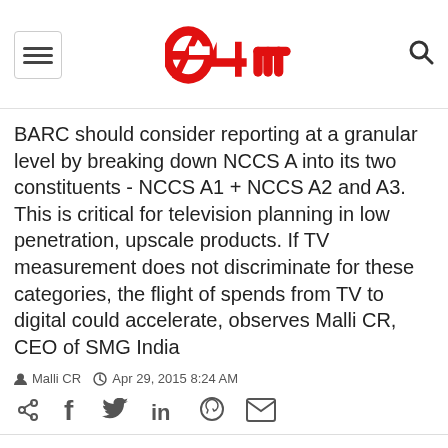[Figure (logo): e4m logo in red stylized text]
BARC should consider reporting at a granular level by breaking down NCCS A into its two constituents - NCCS A1 + NCCS A2 and A3. This is critical for television planning in low penetration, upscale products. If TV measurement does not discriminate for these categories, the flight of spends from TV to digital could accelerate, observes Malli CR, CEO of SMG India
Malli CR  Apr 29, 2015 8:24 AM
[Figure (infographic): Social sharing icons: share, facebook, twitter, linkedin, whatsapp, email]
Coca-Cola beats big spenders Vodafone and Amazon in IPL 8 brand recall: Hansa report